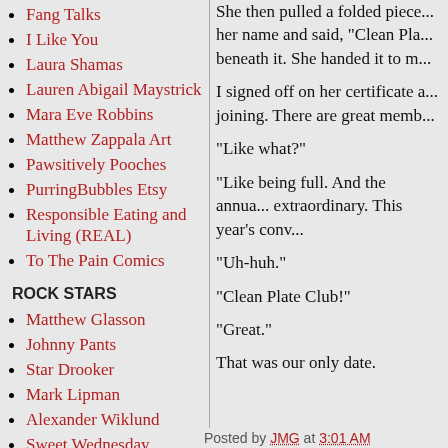Fang Talks
I Like You
Laura Shamas
Lauren Abigail Maystrick
Mara Eve Robbins
Matthew Zappala Art
Pawsitively Pooches
PurringBubbles Etsy
Responsible Eating and Living (REAL)
To The Pain Comics
ROCK STARS
Matthew Glasson
Johnny Pants
Star Drooker
Mark Lipman
Alexander Wiklund
Sweet Wednesday
She then pulled a folded piece... her name and said, "Clean Pla... beneath it. She handed it to m...
I signed off on her certificate a... joining. There are great memb...
"Like what?"
"Like being full. And the annua... extraordinary. This year's conv...
"Uh-huh."
"Clean Plate Club!"
"Great."
That was our only date.
Posted by JMG at 3:01 AM